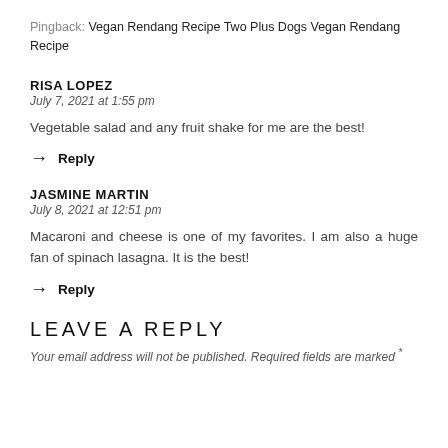Pingback: Vegan Rendang Recipe Two Plus Dogs Vegan Rendang Recipe
RISA LOPEZ
July 7, 2021 at 1:55 pm
Vegetable salad and any fruit shake for me are the best!
→  Reply
JASMINE MARTIN
July 8, 2021 at 12:51 pm
Macaroni and cheese is one of my favorites. I am also a huge fan of spinach lasagna. It is the best!
→  Reply
LEAVE A REPLY
Your email address will not be published. Required fields are marked *